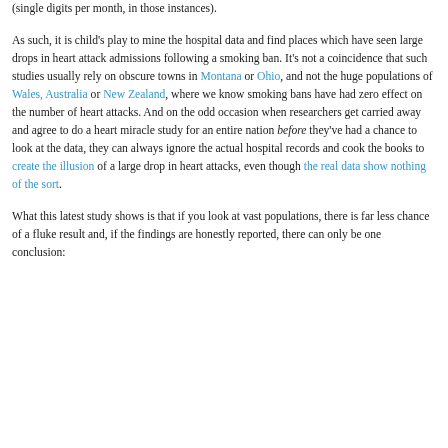(single digits per month, in those instances).
As such, it is child's play to mine the hospital data and find places which have seen large drops in heart attack admissions following a smoking ban. It's not a coincidence that such studies usually rely on obscure towns in Montana or Ohio, and not the huge populations of Wales, Australia or New Zealand, where we know smoking bans have had zero effect on the number of heart attacks. And on the odd occasion when researchers get carried away and agree to do a heart miracle study for an entire nation before they've had a chance to look at the data, they can always ignore the actual hospital records and cook the books to create the illusion of a large drop in heart attacks, even though the real data show nothing of the sort.
What this latest study shows is that if you look at vast populations, there is far less chance of a fluke result and, if the findings are honestly reported, there can only be one conclusion: